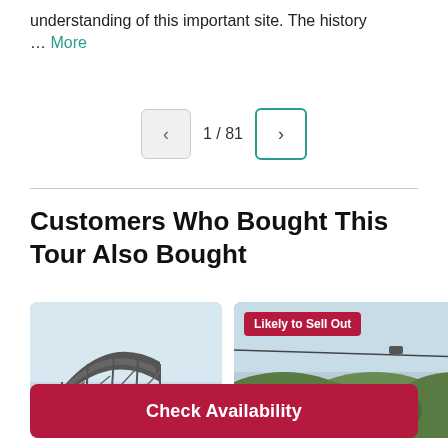understanding of this important site. The history … More
1 / 81
Customers Who Bought This Tour Also Bought
[Figure (photo): Photo of a steel arch bridge (Sydney Harbour Bridge) against a pale blue sky, viewed from below at an angle.]
[Figure (photo): Photo of green forested hillside with a cable car wire visible against a pale sky, with a 'Likely to Sell Out' badge overlay.]
Check Availability